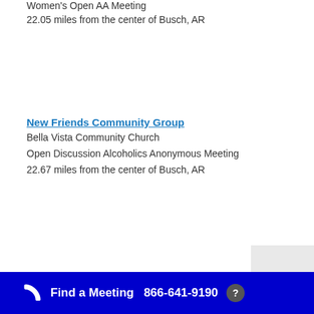Women's Open AA Meeting
22.05 miles from the center of Busch, AR
New Friends Community Group
Bella Vista Community Church
Open Discussion Alcoholics Anonymous Meeting
22.67 miles from the center of Busch, AR
Bentonville Group
Methodist Church (NE Entrance)
Find a Meeting  866-641-9190